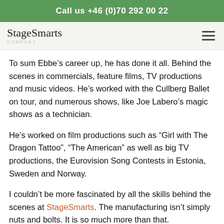Call us +46 (0)70 292 00 22
To sum Ebbe’s career up, he has done it all. Behind the scenes in commercials, feature films, TV productions and music videos. He’s worked with the Cullberg Ballet on tour, and numerous shows, like Joe Labero’s magic shows as a technician.
He’s worked on film productions such as “Girl with The Dragon Tattoo”, “The American” as well as big TV productions, the Eurovision Song Contests in Estonia, Sweden and Norway.
I couldn’t be more fascinated by all the skills behind the scenes at StageSmarts. The manufacturing isn’t simply nuts and bolts. It is so much more than that.